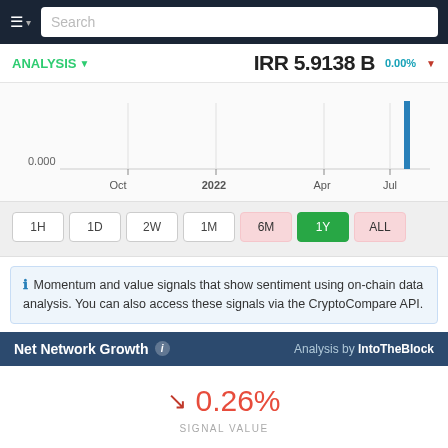Search
ANALYSIS ▼   IRR 5.9138 B   0.00%
[Figure (continuous-plot): Line chart showing price data over time from Oct 2021 to Jul 2022, with a single blue vertical bar near Jul 2022. Y-axis shows 0.000. X-axis labels: Oct, 2022, Apr, Jul.]
1H  1D  2W  1M  6M  1Y  ALL
ℹ Momentum and value signals that show sentiment using on-chain data analysis. You can also access these signals via the CryptoCompare API.
Net Network Growth ℹ   Analysis by IntoTheBlock
↘ 0.26%  SIGNAL VALUE